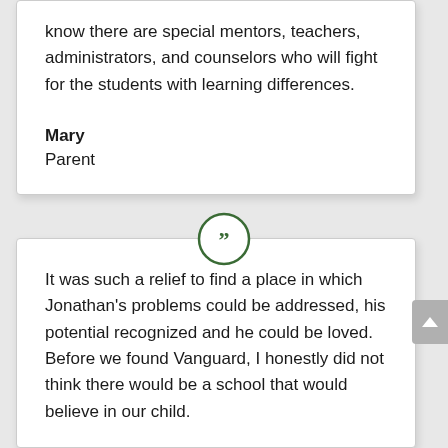know there are special mentors, teachers, administrators, and counselors who will fight for the students with learning differences.
Mary
Parent
[Figure (illustration): Green circle with double closing quotation marks inside, serving as a decorative separator between testimonial cards]
It was such a relief to find a place in which Jonathan's problems could be addressed, his potential recognized and he could be loved. Before we found Vanguard, I honestly did not think there would be a school that would believe in our child.